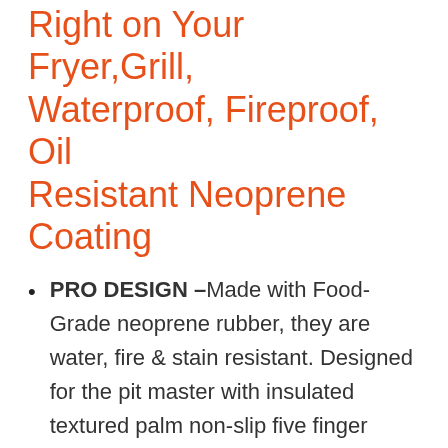Right on Your Fryer,Grill, Waterproof, Fireproof, Oil Resistant Neoprene Coating
PRO DESIGN –Made with Food-Grade neoprene rubber, they are water, fire & stain resistant. Designed for the pit master with insulated textured palm non-slip five finger design so you can manage wet or greasy meat in your smoker or bbq and make pulled pork like the pros!
COMFORTABLE & FLAME